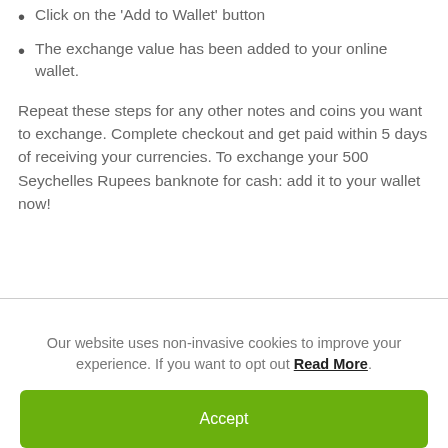Click on the 'Add to Wallet' button
The exchange value has been added to your online wallet.
Repeat these steps for any other notes and coins you want to exchange. Complete checkout and get paid within 5 days of receiving your currencies. To exchange your 500 Seychelles Rupees banknote for cash: add it to your wallet now!
Our website uses non-invasive cookies to improve your experience. If you want to opt out Read More.
Accept